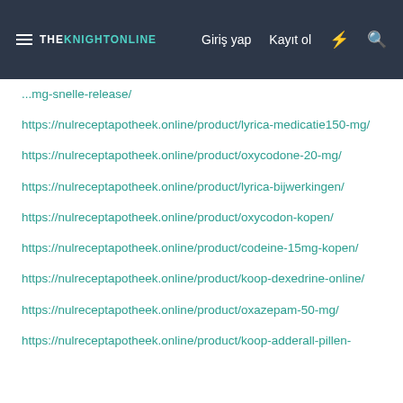THE KNIGHTONLINE | Giriş yap | Kayıt ol
https://nulreceptapotheek.online/product/...mg-snelle-release/
https://nulreceptapotheek.online/product/lyrica-medicatie150-mg/
https://nulreceptapotheek.online/product/oxycodone-20-mg/
https://nulreceptapotheek.online/product/lyrica-bijwerkingen/
https://nulreceptapotheek.online/product/oxycodon-kopen/
https://nulreceptapotheek.online/product/codeine-15mg-kopen/
https://nulreceptapotheek.online/product/koop-dexedrine-online/
https://nulreceptapotheek.online/product/oxazepam-50-mg/
https://nulreceptapotheek.online/product/koop-adderall-pillen-